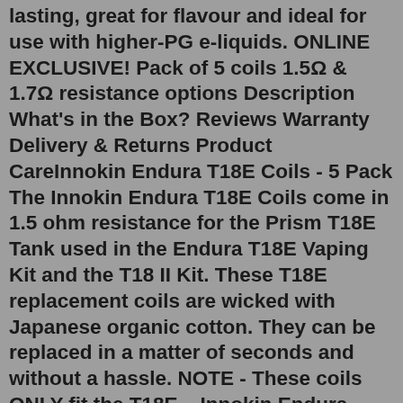lasting, great for flavour and ideal for use with higher-PG e-liquids. ONLINE EXCLUSIVE! Pack of 5 coils 1.5Ω & 1.7Ω resistance options Description What's in the Box? Reviews Warranty Delivery & Returns Product CareInnokin Endura T18E Coils - 5 Pack The Innokin Endura T18E Coils come in 1.5 ohm resistance for the Prism T18E Tank used in the Endura T18E Vaping Kit and the T18 II Kit. These T18E replacement coils are wicked with Japanese organic cotton. They can be replaced in a matter of seconds and without a hassle. NOTE - These coils ONLY fit the T18E ...Innokin Endura T18E Coils - 5 Pack The Innokin Endura T18E Coils come in 1.5 ohm resistance for the Prism T18E Tank used in the Endura T18E Vaping Kit and the T18 II Kit. These T18E replacement coils are wicked with Japanese organic cotton. They can be replaced in a matter of seconds and without a hassle. NOTE - These coils ONLY fit the T18E ...The best way to continue receiving a great flavor and vapor production is by picking up this 5-pack of Prism T18 Coils, which are